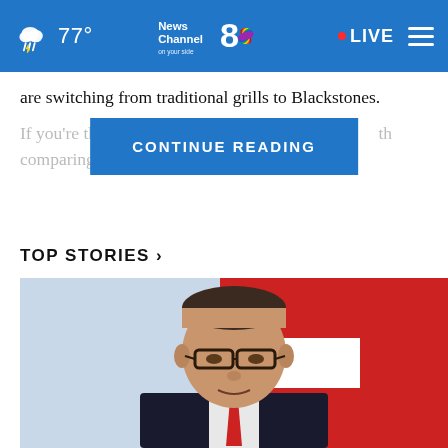News Channel 8 on your side — 77° — LIVE
are switching from traditional grills to Blackstones.
If you're thinki… th comparing
TOP STORIES ›
[Figure (photo): A man in a dark suit and red tie with glasses, speaking at what appears to be a press conference in front of a red and white background.]